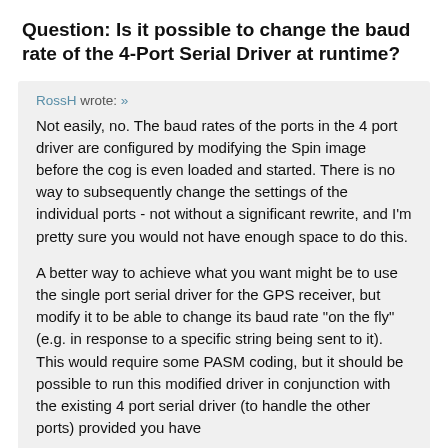Question: Is it possible to change the baud rate of the 4-Port Serial Driver at runtime?
RossH wrote: »
Not easily, no. The baud rates of the ports in the 4 port driver are configured by modifying the Spin image before the cog is even loaded and started. There is no way to subsequently change the settings of the individual ports - not without a significant rewrite, and I'm pretty sure you would not have enough space to do this.

A better way to achieve what you want might be to use the single port serial driver for the GPS receiver, but modify it to be able to change its baud rate "on the fly" (e.g. in response to a specific string being sent to it). This would require some PASM coding, but it should be possible to run this modified driver in conjunction with the existing 4 port serial driver (to handle the other ports) provided you have